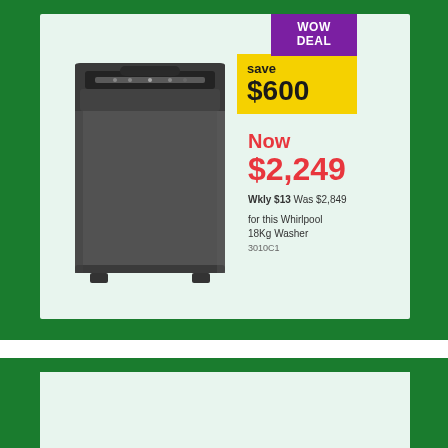[Figure (photo): Dark grey/black Whirlpool 18Kg top-load washing machine]
WOW DEAL
save $600
Now $2,249
Wkly $13 Was $2,849
for this Whirlpool 18Kg Washer
3010C1